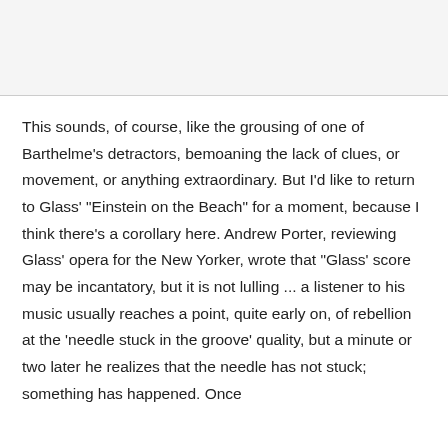This sounds, of course, like the grousing of one of Barthelme's detractors, bemoaning the lack of clues, or movement, or anything extraordinary. But I'd like to return to Glass' "Einstein on the Beach" for a moment, because I think there's a corollary here. Andrew Porter, reviewing Glass' opera for the New Yorker, wrote that "Glass' score may be incantatory, but it is not lulling ... a listener to his music usually reaches a point, quite early on, of rebellion at the 'needle stuck in the groove' quality, but a minute or two later he realizes that the needle has not stuck; something has happened. Once